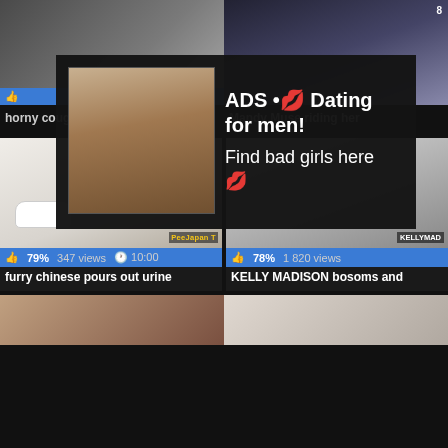[Figure (screenshot): Adult video thumbnail grid with advertisement overlay. Top row shows two partially visible video thumbnails. An overlay ad appears with a selfie photo of a woman, REC badge, focus rectangle, and text 'ADS • 💋 Dating for men! Find bad girls here 💋'. Bottom section shows two video thumbnails with stats and titles: 'furry chinese pours out urine' (79%, 347 views, 10:00) and 'KELLY MADISON bosoms and' (78%, 1 820 views). Partial bottom row shows two more thumbnails.]